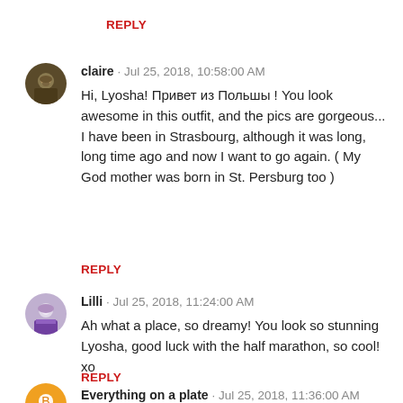REPLY
[Figure (photo): Round avatar photo of user claire]
claire · Jul 25, 2018, 10:58:00 AM
Hi, Lyosha! Привет из Польшы ! You look awesome in this outfit, and the pics are gorgeous... I have been in Strasbourg, although it was long, long time ago and now I want to go again. ( My God mother was born in St. Persburg too )
REPLY
[Figure (photo): Round avatar photo of user Lilli]
Lilli · Jul 25, 2018, 11:24:00 AM
Ah what a place, so dreamy! You look so stunning Lyosha, good luck with the half marathon, so cool! xo
REPLY
[Figure (photo): Round avatar photo of user Everything on a plate]
Everything on a plate · Jul 25, 2018, 11:36:00 AM